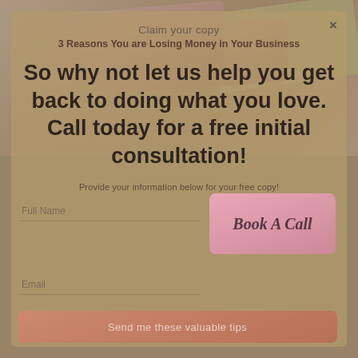[Figure (photo): Background photo showing pink calculator keys and papers/charts on a desk, with a tan/beige color overlay]
Claim your copy
3 Reasons You are Losing Money in Your Business
So why not let us help you get back to doing what you love. Call today for a free initial consultation!
Provide your information below for your free copy!
Full Name
Book A Call
Email
Send me these valuable tips